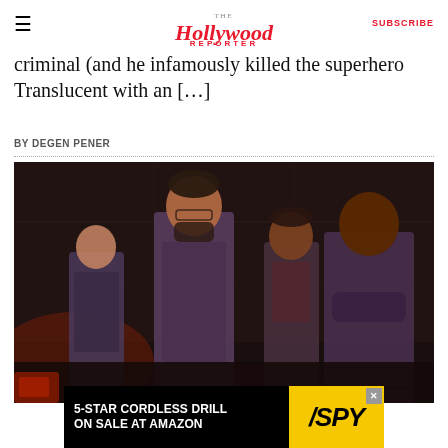The Hollywood Reporter | SUBSCRIBE
criminal (and he infamously killed the superhero Translucent with an […]
BY DEGEN PENER
[Figure (photo): Four cast members of The Boys standing in a dark, cinematic setting. A woman on the left, a tall bearded man in the center-left, and two men on the right, one with arms crossed.]
[Figure (infographic): Advertisement banner: '5-STAR CORDLESS DRILL ON SALE AT AMAZON' with SPY logo on yellow background, and an X close button.]